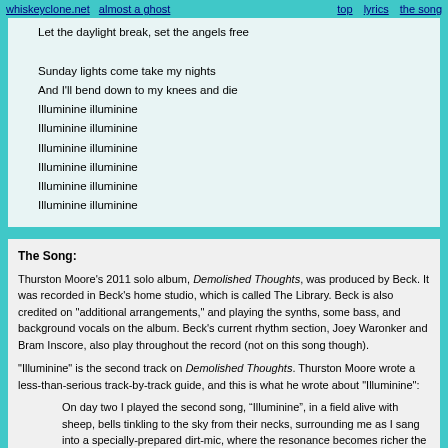whiskeyclone.net   almost a ghost   top   lyrics   the song
Let the daylight break, set the angels free

Sunday lights come take my nights
And I'll bend down to my knees and die
Illuminine illuminine
Illuminine illuminine
Illuminine illuminine
Illuminine illuminine
Illuminine illuminine
Illuminine illuminine
The Song:
Thurston Moore's 2011 solo album, Demolished Thoughts, was produced by Beck. It was recorded in Beck's home studio, which is called The Library. Beck is also credited on "additional arrangements," and playing the synths, some bass, and background vocals on the album. Beck's current rhythm section, Joey Waronker and Bram Inscore, also play throughout the record (not on this song though).
"Illuminine" is the second track on Demolished Thoughts. Thurston Moore wrote a less-than-serious track-by-track guide, and this is what he wrote about "Illuminine":
On day two I played the second song, “Illuminine”, in a field alive with sheep, bells tinkling to the sky from their necks, surrounding me as I sang into a specially-prepared dirt-mic, where the resonance becomes richer the more prone the performer's body is to the earth. Lyrics of salvation through lonesome meditation of nature and its reflection of animal magnetism. Surrendering to spirit desire.
As usual, Beck infuses these pretty acoustic songs with a lot of subtle depth--strings, synths, a little bass fill the song out.